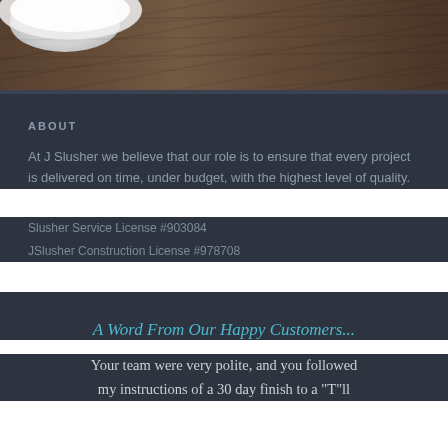[Figure (photo): Photo of a white plate on a dark wooden table surface, cropped to show the bottom portion of the plate and the wood grain texture.]
ABOUT
At J Slusher we believe that our role is to ensure that every project is delivered on time, under budget, with the highest level of quality.
Slusher Service License #903084
JSlusher Construction License #978708
A Word From Our Happy Customers...
Your team were very polite, and you followed my instructions of a 30 day finish to a "T"ll